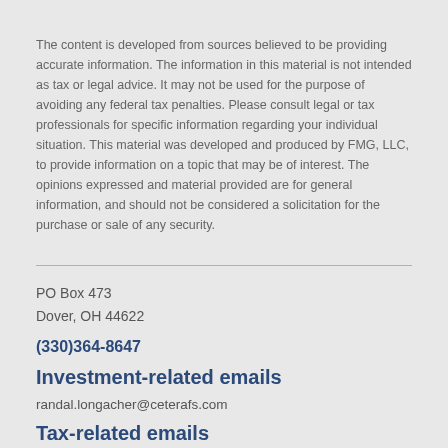The content is developed from sources believed to be providing accurate information. The information in this material is not intended as tax or legal advice. It may not be used for the purpose of avoiding any federal tax penalties. Please consult legal or tax professionals for specific information regarding your individual situation. This material was developed and produced by FMG, LLC, to provide information on a topic that may be of interest. The opinions expressed and material provided are for general information, and should not be considered a solicitation for the purchase or sale of any security.
PO Box 473
Dover, OH 44622
(330)364-8647
Investment-related emails
randal.longacher@ceterafs.com
Tax-related emails
info@atgtax.com